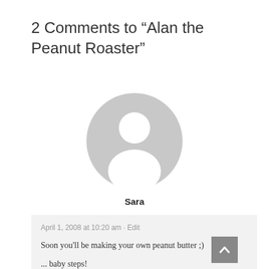2 Comments to “Alan the Peanut Roaster”
[Figure (illustration): Generic grey user avatar icon showing a silhouette of a person with head and shoulders on a circular grey background]
Sara
April 1, 2008 at 10:20 am · Edit
Soon you'll be making your own peanut butter ;)
... baby steps!